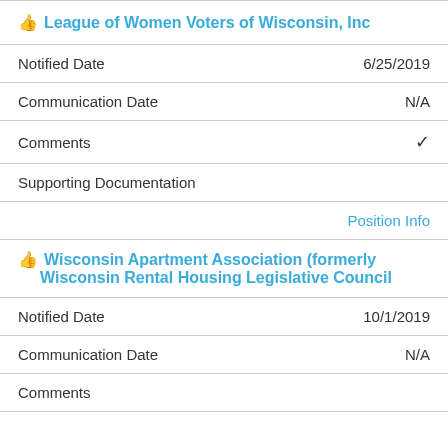League of Women Voters of Wisconsin, Inc
Notified Date	6/25/2019
Communication Date	N/A
Comments	✓
Supporting Documentation
Position Info
Wisconsin Apartment Association (formerly Wisconsin Rental Housing Legislative Council
Notified Date	10/1/2019
Communication Date	N/A
Comments